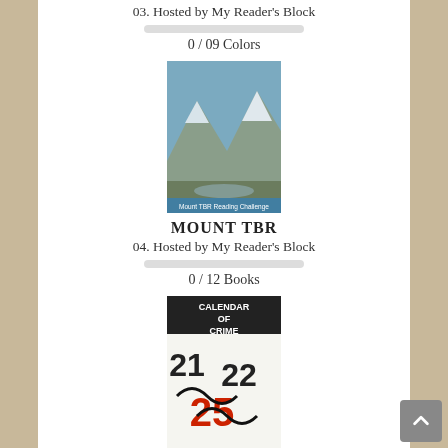03. Hosted by My Reader's Block
0 / 09 Colors
[Figure (photo): Book cover image for Mount TBR reading challenge, showing a mountain landscape with snow.]
MOUNT TBR
04. Hosted by My Reader's Block
0 / 12 Books
[Figure (photo): Book cover image for Calendar of Crime reading challenge, showing numbers and decorative elements.]
CALENDAR OF CRIME
05. Hosted by My Reader's Block
0 / 12 Months